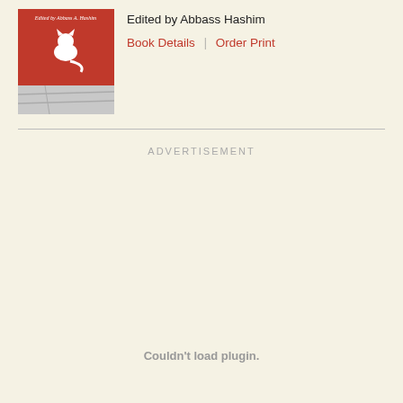[Figure (photo): Book cover with red background, white silhouette of a cat, and small italic text 'Edited by Abbass A. Hashim' at top]
Edited by Abbass Hashim
Book Details | Order Print
ADVERTISEMENT
Couldn't load plugin.